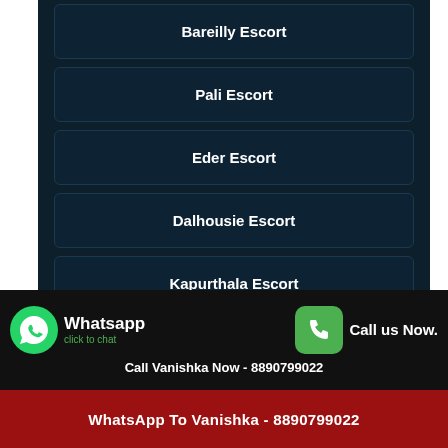Bareilly Escort
Pali Escort
Eder Escort
Dalhousie Escort
Kapurthala Escort
Balia Escort
Himmatnagar Escort
Whatsapp click to chat
Call us Now.
Call Vanishka Now - 8890799022
WhatsApp To Vanishka - 8890799022